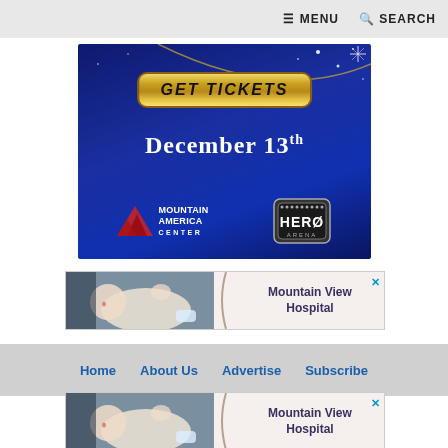≡ MENU  🔍 SEARCH
[Figure (illustration): GET TICKETS advertisement banner for December 13th event at Mountain America Center / Hero Arena. Dark blue background with gold GET TICKETS button, white text DECEMBER 13TH, Mountain America Center logo and Hero Arena logo.]
[Figure (illustration): Mountain View Hospital advertisement banner with baby photo and hospital name text.]
Home   About Us   Advertise   Subscribe
[Figure (illustration): Mountain View Hospital advertisement banner (repeated at bottom) with baby photo and hospital name text.]